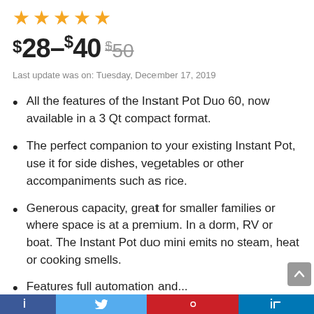[Figure (other): Five orange star rating icons]
$28–$40 $50
Last update was on: Tuesday, December 17, 2019
All the features of the Instant Pot Duo 60, now available in a 3 Qt compact format.
The perfect companion to your existing Instant Pot, use it for side dishes, vegetables or other accompaniments such as rice.
Generous capacity, great for smaller families or where space is at a premium. In a dorm, RV or boat. The Instant Pot duo mini emits no steam, heat or cooking smells.
Features full automation and...